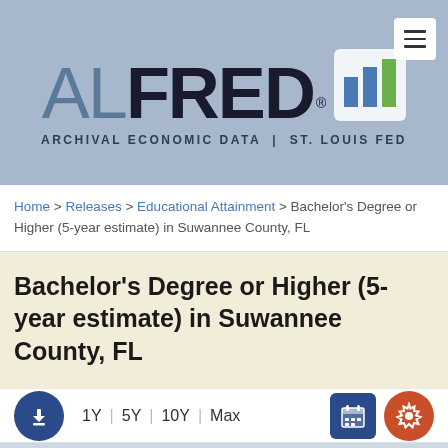[Figure (logo): ALFRED Archival Economic Data | St. Louis Fed logo with bar chart icon and hamburger menu button]
Home > Releases > Educational Attainment > Bachelor's Degree or Higher (5-year estimate) in Suwannee County, FL
Bachelor's Degree or Higher (5-year estimate) in Suwannee County, FL
1Y | 5Y | 10Y | Max
[Figure (other): Empty chart area placeholder in light blue-gray]